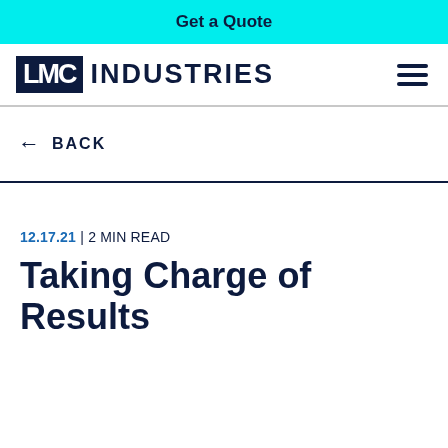Get a Quote
[Figure (logo): LMC Industries logo with dark navy box containing LMC text and INDUSTRIES wordmark, plus hamburger menu icon]
← BACK
12.17.21 | 2 MIN READ
Taking Charge of Results